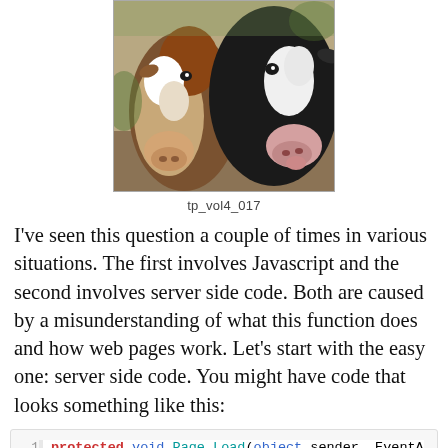[Figure (photo): Two cows with their heads close together, one brown and white, one black and white, photographed from a low angle outdoors.]
tp_vol4_017
I've seen this question a couple of times in various situations. The first involves Javascript and the second involves server side code. Both are caused by a misunderstanding of what this function does and how web pages work. Let's start with the easy one: server side code. You might have code that looks something like this:
[Figure (screenshot): Code block showing line numbers 1-4 with the beginning of a C# Page_Load method: 'protected void Page_Load(object sender, EventA' on line 1, '{' on line 2, '// Do something here' partially visible on line 4.]